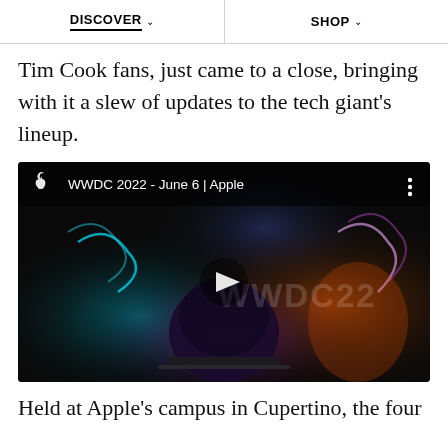DISCOVER   SHOP
Tim Cook fans, just came to a close, bringing with it a slew of updates to the tech giant's lineup.
[Figure (screenshot): Embedded YouTube video thumbnail for 'WWDC 2022 - June 6 | Apple' showing Apple logo, video title, three-dot menu icon, a dark artistic scene with colorful characters, a play button in the center, and WWDC22 watermark text in the background.]
Held at Apple's campus in Cupertino, the four